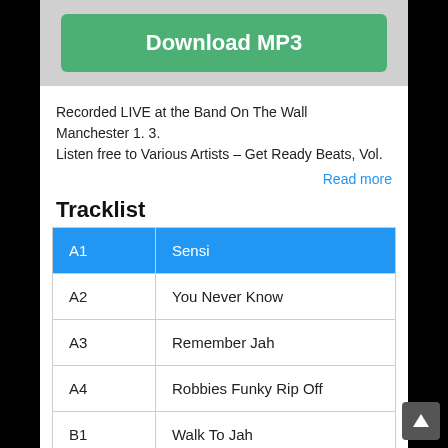[Figure (other): Green Download MP3 button on gray header bar]
Recorded LIVE at the Band On The Wall Manchester 1. 3.
Listen free to Various Artists – Get Ready Beats, Vol.
Read more
Tracklist
|  |  |
| --- | --- |
| A1 | Sensi |
| A2 | You Never Know |
| A3 | Remember Jah |
| A4 | Robbies Funky Rip Off |
| B1 | Walk To Jah |
| B2 | Search |
| B3 | Armagideon '93 |